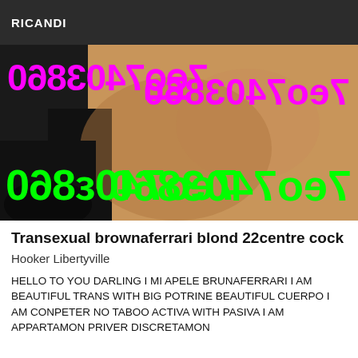RICANDI
[Figure (photo): Adult advertisement photo with overlaid mirrored phone number text in magenta and green]
Transexual brownaferrari blond 22centre cock
Hooker Libertyville
HELLO TO YOU DARLING I MI APELE BRUNAFERRARI I AM BEAUTIFUL TRANS WITH BIG POTRINE BEAUTIFUL CUERPO I AM CONPETER NO TABOO ACTIVA WITH PASIVA I AM APPARTAMON PRIVER DISCRETAMON